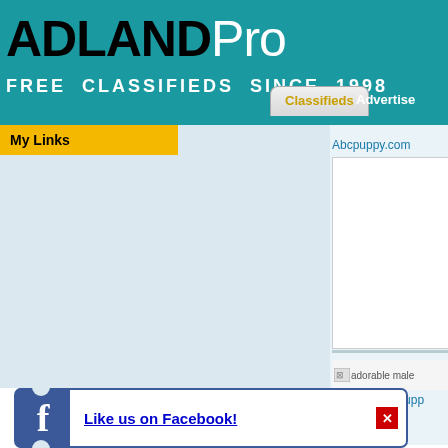ADLANDPro FREE CLASSIFIEDS SINCE 1998
Classifieds
Advertise
My Links
Abcpuppy.com
[Figure (other): Broken image placeholder for adorable male listing]
Dachshund Pupp
Like us on Facebook!